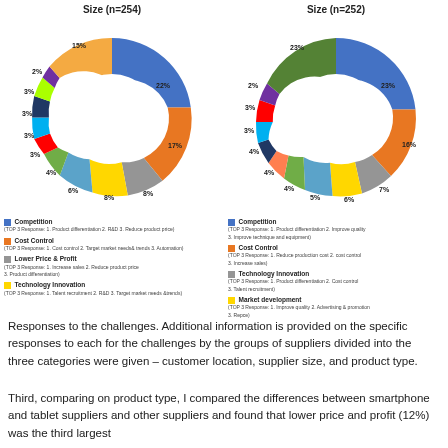[Figure (donut-chart): Size (n=254)]
[Figure (donut-chart): Size (n=252)]
Responses to the challenges. Additional information is provided on the specific responses to each for the challenges by the groups of suppliers divided into the three categories were given – customer location, supplier size, and product type.
Third, comparing on product type, I compared the differences between smartphone and tablet suppliers and other suppliers and found that lower price and profit (12%) was the third largest